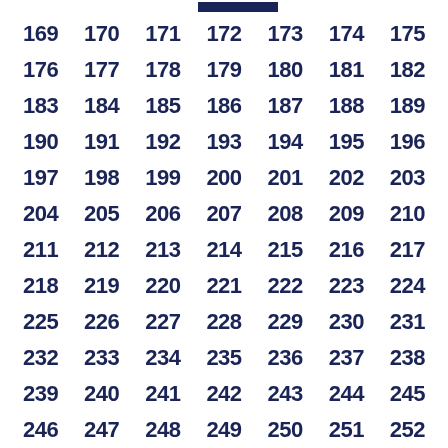[Figure (other): Dark navy blue rectangular bar at the top center of the page]
169 170 171 172 173 174 175 176 177 178 179 180 181 182 183 184 185 186 187 188 189 190 191 192 193 194 195 196 197 198 199 200 201 202 203 204 205 206 207 208 209 210 211 212 213 214 215 216 217 218 219 220 221 222 223 224 225 226 227 228 229 230 231 232 233 234 235 236 237 238 239 240 241 242 243 244 245 246 247 248 249 250 251 252